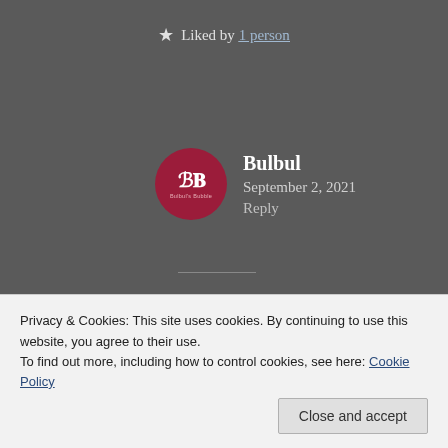★ Liked by 1 person
Bulbul
September 2, 2021
Reply
[Figure (illustration): Bulbul's Bubble logo avatar — dark red circle with stylized 'B B' letters and text 'Bulbul's Bubble' underneath]
😘❤️❤️❤️😘🌹
Privacy & Cookies: This site uses cookies. By continuing to use this website, you agree to their use.
To find out more, including how to control cookies, see here: Cookie Policy